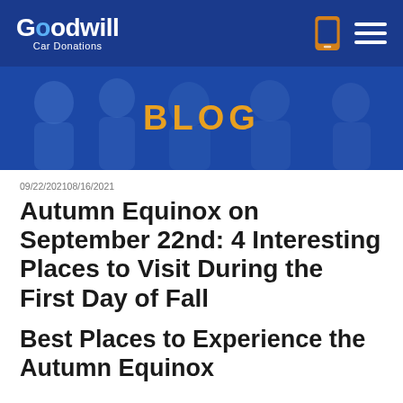Goodwill Car Donations
[Figure (screenshot): Goodwill Car Donations website header with blue navigation bar showing logo, phone icon, and hamburger menu]
BLOG
09/22/202108/16/2021
Autumn Equinox on September 22nd: 4 Interesting Places to Visit During the First Day of Fall
Best Places to Experience the Autumn Equinox